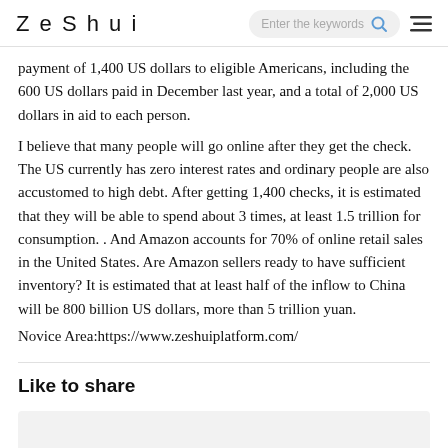ZeShui  Enter the keywords
payment of 1,400 US dollars to eligible Americans, including the 600 US dollars paid in December last year, and a total of 2,000 US dollars in aid to each person.
I believe that many people will go online after they get the check. The US currently has zero interest rates and ordinary people are also accustomed to high debt. After getting 1,400 checks, it is estimated that they will be able to spend about 3 times, at least 1.5 trillion for consumption. . And Amazon accounts for 70% of online retail sales in the United States. Are Amazon sellers ready to have sufficient inventory? It is estimated that at least half of the inflow to China will be 800 billion US dollars, more than 5 trillion yuan.
Novice Area:https://www.zeshuiplatform.com/
Like to share
[Figure (other): Light grey empty sharing box area]